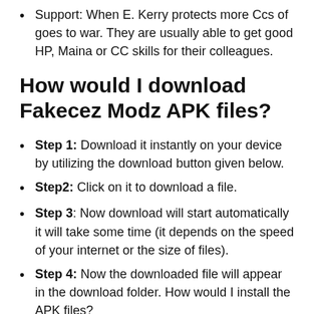Support: When E. Kerry protects more Ccs of goes to war. They are usually able to get good HP, Maina or CC skills for their colleagues.
How would I download Fakecez Modz APK files?
Step 1: Download it instantly on your device by utilizing the download button given below.
Step2: Click on it to download a file.
Step 3: Now download will start automatically it will take some time (it depends on the speed of your internet or the size of files).
Step 4: Now the downloaded file will appear in the download folder. How would I install the APK files?
Step 5: (partially visible)